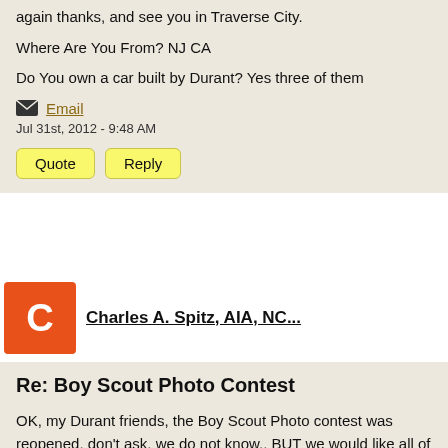again thanks, and see you in Traverse City.
Where Are You From? NJ CA
Do You own a car built by Durant? Yes three of them
Email
Jul 31st, 2012 - 9:48 AM
Charles A. Spitz, AIA, NC...
Re: Boy Scout Photo Contest
OK, my Durant friends, the Boy Scout Photo contest was reopened, don't ask, we do not know,, BUT we would like all of your to revisit the site and vote, vote and vote again...you can vote once per hour, and the voting is suppose to end, and I say that because who know, on August 18.